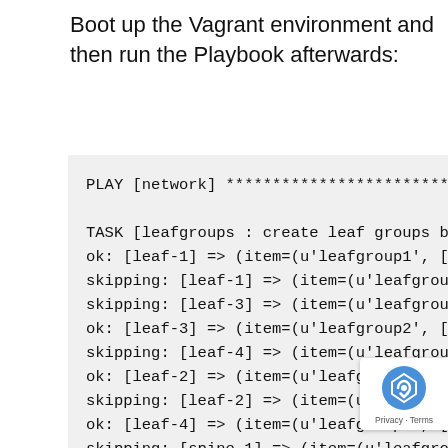Boot up the Vagrant environment and then run the Playbook afterwards:
[Figure (screenshot): Terminal output showing Ansible playbook run with PLAY [network] and TASK [leafgroups : create leaf groups bas...] with multiple ok: and skipping: lines for leaf-1, leaf-2, leaf-3, leaf-4, spine-1, spine-2 nodes]